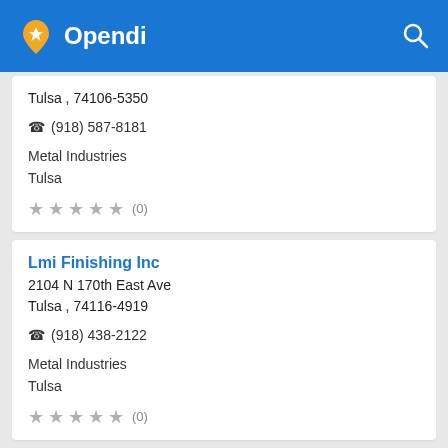Opendi
Tulsa , 74106-5350
☎ (918) 587-8181
Metal Industries
Tulsa
★★★★★ (0)
Lmi Finishing Inc
2104 N 170th East Ave
Tulsa , 74116-4919
☎ (918) 438-2122
Metal Industries
Tulsa
★★★★★ (0)
Locke Wholesale Heating & Cooling